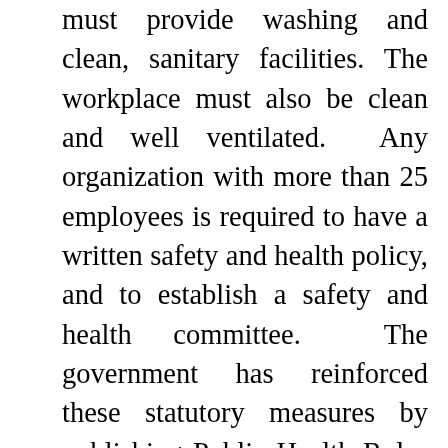must provide washing and clean, sanitary facilities. The workplace must also be clean and well ventilated. Any organization with more than 25 employees is required to have a written safety and health policy, and to establish a safety and health committee. The government has reinforced these statutory measures by publishing Public Health Rules that require employers to provide hand sanitizers at their workplace and ensure that a distance of 1 meter between persons at the workplace is maintained. Employees who have worked for at least two consecutive months are entitled to 7 days' sick leave with full pay and an additional 3 days' sick leave on half pay. Employers are mandated to provide medicine and medical care for employees who fall ill while working unless there is available free health care provided by the government or medical insurance taken out for the